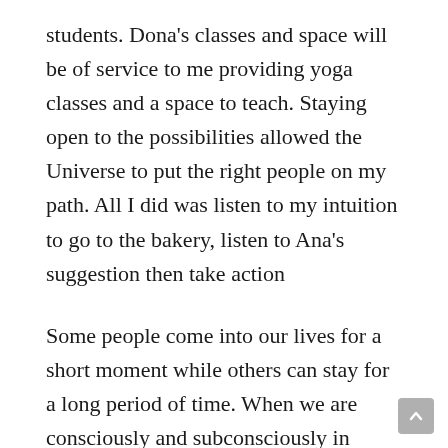students. Dona's classes and space will be of service to me providing yoga classes and a space to teach. Staying open to the possibilities allowed the Universe to put the right people on my path. All I did was listen to my intuition to go to the bakery, listen to Ana's suggestion then take action
Some people come into our lives for a short moment while others can stay for a long period of time. When we are consciously and subconsciously in alignment with our thoughts, feelings and energy, doors open to allow us to be of service to those who are